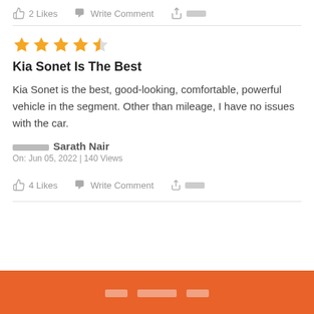2 Likes   Write Comment   Share
★★★★½
Kia Sonet Is The Best
Kia Sonet is the best, good-looking, comfortable, powerful vehicle in the segment. Other than mileage, I have no issues with the car.
████ Sarath Nair
On: Jun 05, 2022 | 140 Views
4 Likes   Write Comment   Share
███ ██████ ███